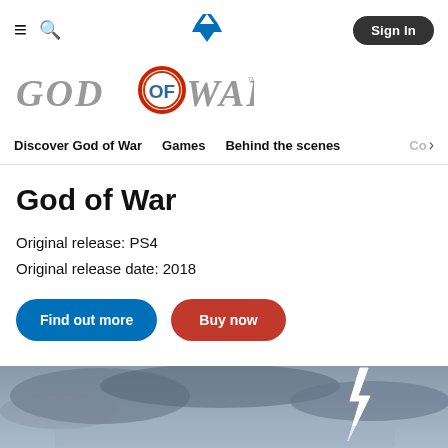PlayStation navigation bar with hamburger menu, search icon, PlayStation logo, and Sign In button
[Figure (logo): God of War game logo with stylized text and red Omega symbol]
Discover God of War | Games | Behind the scenes | Co>
God of War
Original release: PS4
Original release date: 2018
Find out more | Buy now
[Figure (photo): Dark stormy sky with lightning bolt, partial view of game imagery at bottom of page]